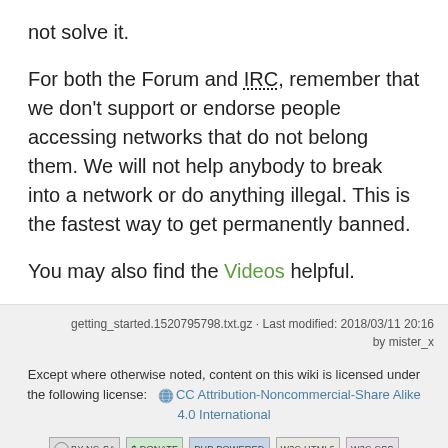not solve it.
For both the Forum and IRC, remember that we don't support or endorse people accessing networks that do not belong them. We will not help anybody to break into a network or do anything illegal. This is the fastest way to get permanently banned.
You may also find the Videos helpful.
getting_started.1520795798.txt.gz · Last modified: 2018/03/11 20:16 by mister_x
Except where otherwise noted, content on this wiki is licensed under the following license: CC Attribution-Noncommercial-Share Alike 4.0 International